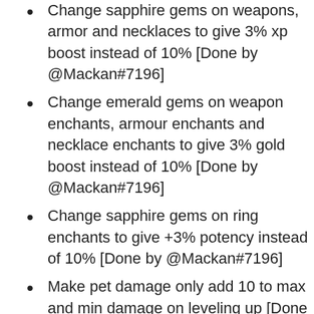Change sapphire gems on weapons, armor and necklaces to give 3% xp boost instead of 10% [Done by @Mackan#7196]
Change emerald gems on weapon enchants, armour enchants and necklace enchants to give 3% gold boost instead of 10% [Done by @Mackan#7196]
Change sapphire gems on ring enchants to give +3% potency instead of 10% [Done by @Mackan#7196]
Make pet damage only add 10 to max and min damage on leveling up [Done by @Mackan#7196]
Make dynamobs take the pets damage into account when generating [Done by